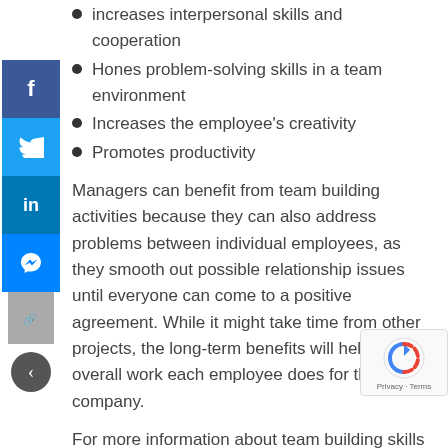increases interpersonal skills and cooperation
Hones problem-solving skills in a team environment
Increases the employee's creativity
Promotes productivity
Managers can benefit from team building activities because they can also address problems between individual employees, as they smooth out possible relationship issues until everyone can come to a positive agreement. While it might take time from other projects, the long-term benefits will help the overall work each employee does for the company.
For more information about team building skills in the workplace, check out Mike Stromsoe's Unstoppable Profit Producer Program.
Posted by Mentors on 'Team-building'...